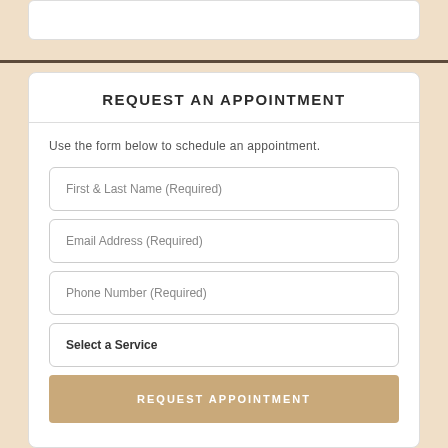REQUEST AN APPOINTMENT
Use the form below to schedule an appointment.
First & Last Name (Required)
Email Address (Required)
Phone Number (Required)
Select a Service
REQUEST APPOINTMENT